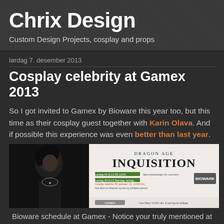Chrix Design
Custom Design Projects, cosplay and props
lørdag 7. desember 2013
Cosplay celebrity at Gamex 2013
So I got invited to Gamex by Bioware this year too, but this time as their cosplay guest together with Karin Olava. And if possible this experience was even better than last year.
[Figure (photo): Dragon Age Inquisition promotional banner/schedule image showing a character and Gamex event schedule details]
Bioware schedule at Gamex - Notice your truly mentioned at the autograph signing. This was so awesome.
This way they also continued the tradition of my...